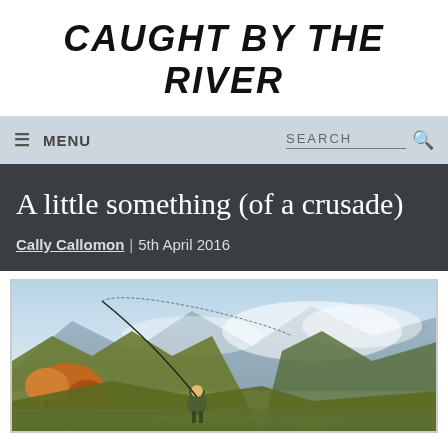CAUGHT BY THE RIVER
≡ MENU    SEARCH 🔍
A little something (of a crusade)
Cally Callomon | 5th April 2016
[Figure (illustration): Painting of a fly fisherman casting a rod in a dramatic Highland river landscape with autumn-colored trees and misty mountains in the background]